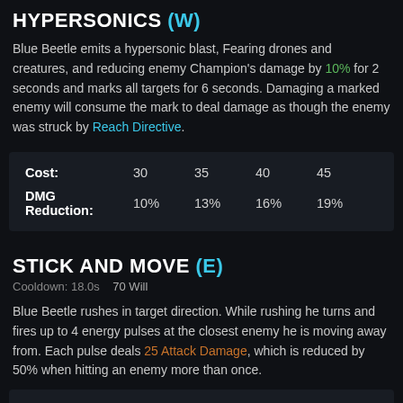HYPERSONICS (W)
Blue Beetle emits a hypersonic blast, Fearing drones and creatures, and reducing enemy Champion's damage by 10% for 2 seconds and marks all targets for 6 seconds. Damaging a marked enemy will consume the mark to deal damage as though the enemy was struck by Reach Directive.
|  |  |  |  |  |
| --- | --- | --- | --- | --- |
| Cost: | 30 | 35 | 40 | 45 |
| DMG Reduction: | 10% | 13% | 16% | 19% |
STICK AND MOVE (E)
Cooldown: 18.0s   70 Will
Blue Beetle rushes in target direction. While rushing he turns and fires up to 4 energy pulses at the closest enemy he is moving away from. Each pulse deals 25 Attack Damage, which is reduced by 50% when hitting an enemy more than once.
| Damage: | 25 | 45 | 65 | 85 | + 30% Bonus Attack Damage |
| --- | --- | --- | --- | --- | --- |